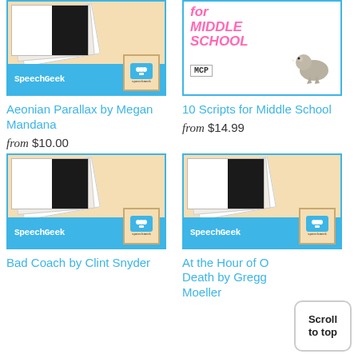[Figure (illustration): SpeechGeek product cover for Aeonian Parallax - stacked papers with photo, blue SpeechGeek bottom bar and logo]
Aeonian Parallax by Megan Mandana
from $10.00
[Figure (illustration): 10 Scripts for Middle School book cover with pink title text and bird illustration, MCP badge]
10 Scripts for Middle School
from $14.99
[Figure (illustration): SpeechGeek product cover for Bad Coach by Clint Snyder - stacked papers with photo, blue SpeechGeek bottom bar and logo]
Bad Coach by Clint Snyder
[Figure (illustration): SpeechGeek product cover for At the Hour of Our Death by Gregg Moeller - stacked papers with photo, blue SpeechGeek bottom bar and logo]
At the Hour of Our Death by Gregg Moeller
Scroll to top